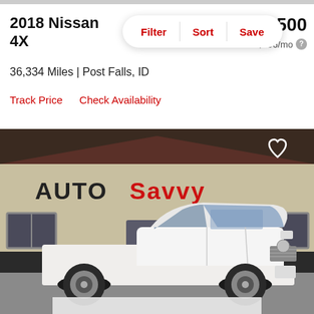2018 Nissan Frontier SV 4X
$27,500
est. $396/mo
Filter | Sort | Save
36,334 Miles | Post Falls, ID
Track Price    Check Availability
[Figure (photo): White 2018 Nissan Frontier pickup truck parked in front of AutoSavvy dealership building]